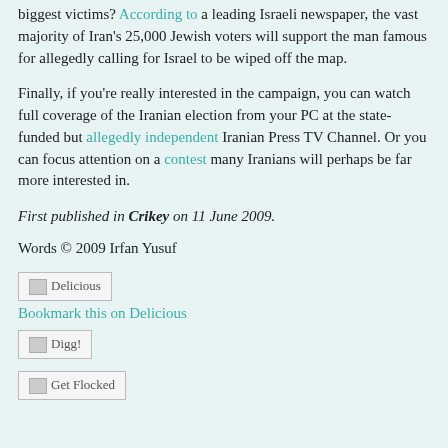biggest victims? According to a leading Israeli newspaper, the vast majority of Iran's 25,000 Jewish voters will support the man famous for allegedly calling for Israel to be wiped off the map.
Finally, if you're really interested in the campaign, you can watch full coverage of the Iranian election from your PC at the state-funded but allegedly independent Iranian Press TV Channel. Or you can focus attention on a contest many Iranians will perhaps be far more interested in.
First published in Crikey on 11 June 2009.
Words © 2009 Irfan Yusuf
[Figure (screenshot): Delicious bookmark button image placeholder with text 'Delicious']
Bookmark this on Delicious
[Figure (screenshot): Digg button image placeholder with text 'Digg!']
[Figure (screenshot): Get Flocked button image placeholder with text 'Get Flocked']